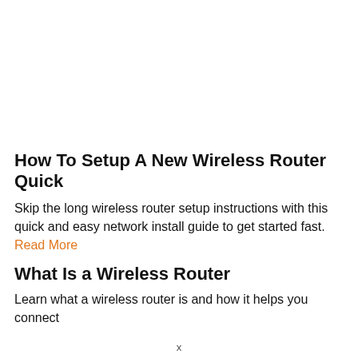How To Setup A New Wireless Router Quick
Skip the long wireless router setup instructions with this quick and easy network install guide to get started fast. Read More
What Is a Wireless Router
Learn what a wireless router is and how it helps you connect
x